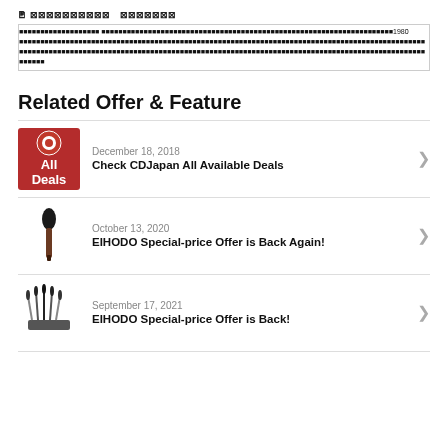??? ?????????? ???????
??????????????????? ?????????????????????????????????????????????????????????????????????????????????1980 ???????????????????????????????????????????????????????????????????????????????????????????????????????????????????????????????????????????????????????????????? ??????
Related Offer & Feature
December 18, 2018 | Check CDJapan All Available Deals
October 13, 2020 | EIHODO Special-price Offer is Back Again!
September 17, 2021 | EIHODO Special-price Offer is Back!